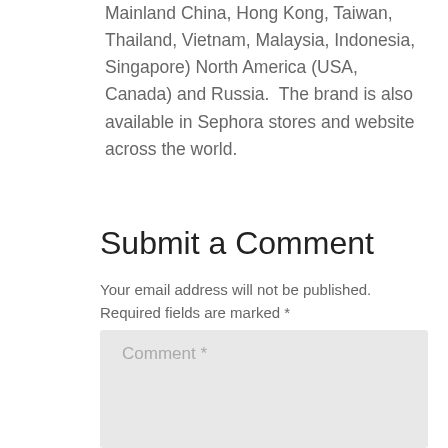Mainland China, Hong Kong, Taiwan, Thailand, Vietnam, Malaysia, Indonesia, Singapore) North America (USA, Canada) and Russia.  The brand is also available in Sephora stores and website across the world.
Submit a Comment
Your email address will not be published. Required fields are marked *